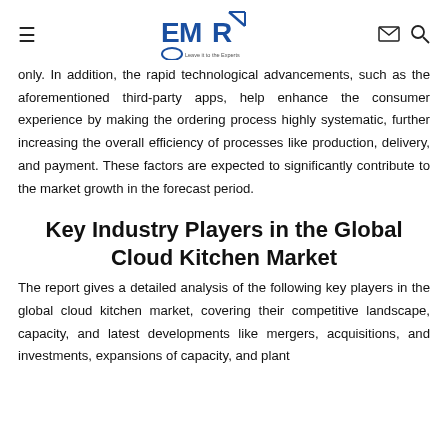EMR - Leave it to the Experts (logo with hamburger menu, envelope icon, search icon)
only. In addition, the rapid technological advancements, such as the aforementioned third-party apps, help enhance the consumer experience by making the ordering process highly systematic, further increasing the overall efficiency of processes like production, delivery, and payment. These factors are expected to significantly contribute to the market growth in the forecast period.
Key Industry Players in the Global Cloud Kitchen Market
The report gives a detailed analysis of the following key players in the global cloud kitchen market, covering their competitive landscape, capacity, and latest developments like mergers, acquisitions, and investments, expansions of capacity, and plant